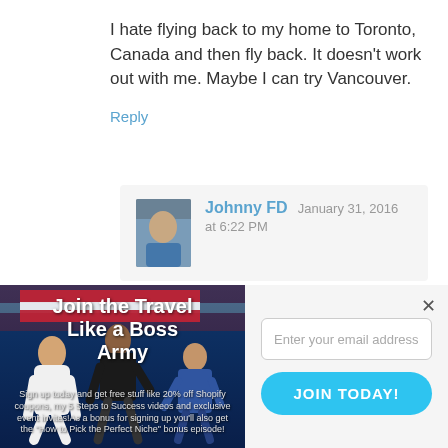I hate flying back to my home to Toronto, Canada and then fly back. It doesn't work out with me. Maybe I can try Vancouver.
Reply
Johnny FD  January 31, 2016 at 6:22 PM
[Figure (infographic): Join the Travel Like a Boss Army promotional image with people in martial arts uniforms jumping, red/white/blue flag background, and sign-up text about free Shopify coupons and bonus content.]
Enter your email address
JOIN TODAY!